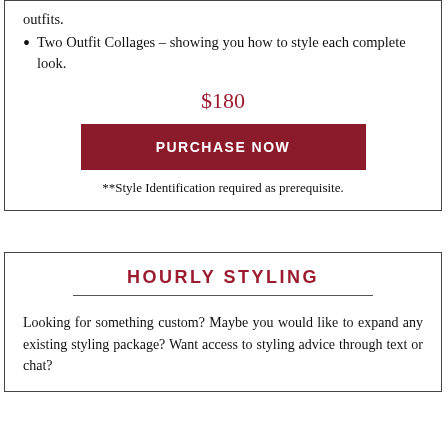Shopping List including the complete head-to-toe outfits.
Two Outfit Collages – showing you how to style each complete look.
$180
PURCHASE NOW
**Style Identification required as prerequisite.
HOURLY STYLING
Looking for something custom? Maybe you would like to expand any existing styling package? Want access to styling advice through text or chat?